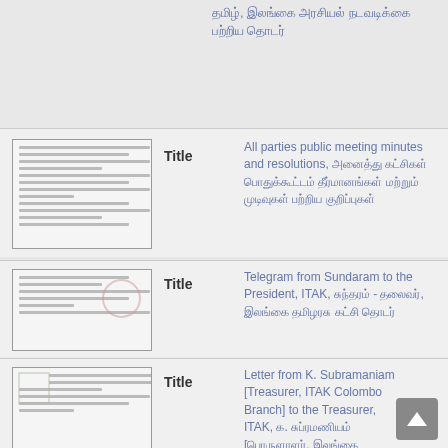தமிழ், இலங்கை அரசியல் நடவடிக்கை பற்றிய
[Figure (photo): Thumbnail image of a handwritten/typed document page]
Title
All parties public meeting minutes and resolutions, அனைத்து கட்சிகள் பொதுக்கூட்டம் தீர்மானங்கள் மற்றும் முடிவுகள் பற்றிய குறிப்புகள்
[Figure (photo): Thumbnail image of a telegram document with stamps]
Title
Telegram from Sundaram to the President, ITAK, சுந்தரம் - தலைவர், இலங்கை தமிழரசு கட்சி தொடர்
[Figure (photo): Thumbnail image of a letter document]
Title
Letter from K. Subramaniam [Treasurer, ITAK Colombo Branch] to the Treasurer, ITAK, க. சுப்ரமணியம் [பொருளாளர், இலங்கை தமிழரசு கட்சி கொழும்பு கிளை] - பொருளாளர், இலங்கை தமிழரசு கட்சி பற்றிய